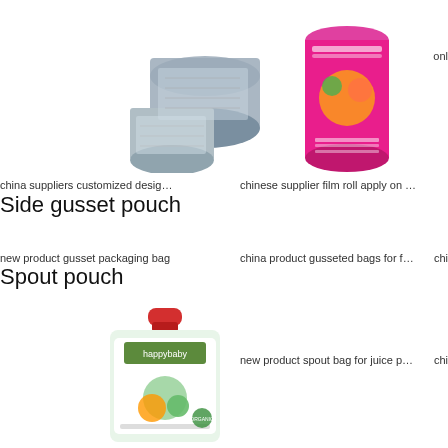[Figure (photo): Two rolls of printed flexible packaging film/label stock, blue/gray colored]
[Figure (photo): Pink cylindrical roll of film with fruit printed design]
onl
china suppliers customized desig…
chinese supplier film roll apply on …
Side gusset pouch
new product gusset packaging bag
china product gusseted bags for f…
chi
Spout pouch
[Figure (photo): happybaby brand spout pouch baby food pouch with red cap, green and white packaging]
new product spout bag for juice p…
chi